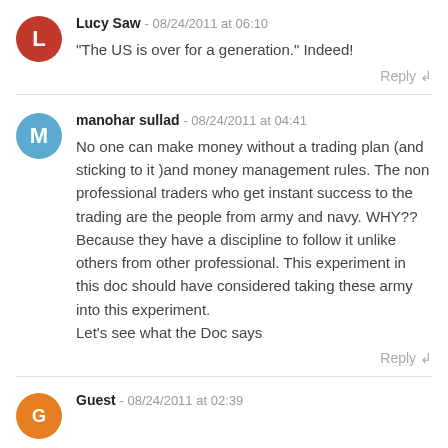Lucy Saw - 08/24/2011 at 06:10
"The US is over for a generation." Indeed!
Reply
manohar sullad - 08/24/2011 at 04:41
No one can make money without a trading plan (and sticking to it )and money management rules. The non professional traders who get instant success to the trading are the people from army and navy. WHY?? Because they have a discipline to follow it unlike others from other professional. This experiment in this doc should have considered taking these army into this experiment.
Let's see what the Doc says
Reply
Guest - 08/24/2011 at 02:39